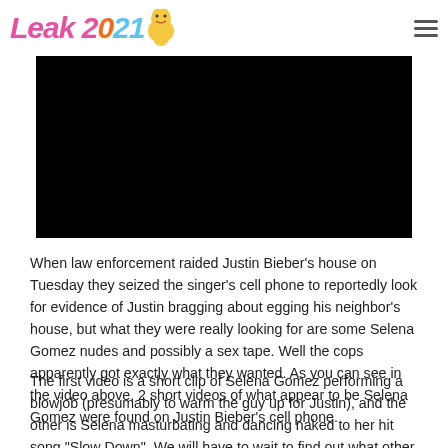Leak 2021
[Figure (photo): Dark/black background hero image, partially visible]
When law enforcement raided Justin Bieber’s house on Tuesday they seized the singer’s cell phone to reportedly look for evidence of Justin bragging about egging his neighbor’s house, but what they were really looking for are some Selena Gomez nudes and possibly a sex tape. Well the cops apparently got exactly what they wanted. As you can see in the video above, 2 short videos of what appear to be Selena Gomez were found on Justin Bieber’s cell phone.
The first video is a short clip of Selena Gomez performing a blowjob (presumably to warm the guy up for Justin), and the other is Selena masturbating and dancing naked to her hit song “Slow Down”. We will have to wait to find out what other sorts of depravity will be uncovered on Justin Bieber’s cell phone, as the investigating officer has gone on